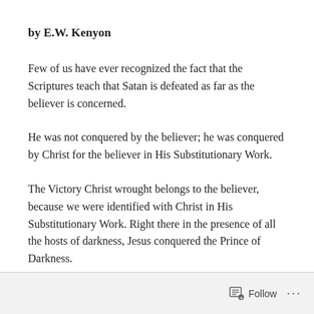by E.W. Kenyon
Few of us have ever recognized the fact that the Scriptures teach that Satan is defeated as far as the believer is concerned.
He was not conquered by the believer; he was conquered by Christ for the believer in His Substitutionary Work.
The Victory Christ wrought belongs to the believer, because we were identified with Christ in His Substitutionary Work. Right there in the presence of all the hosts of darkness, Jesus conquered the Prince of Darkness.
Follow ...